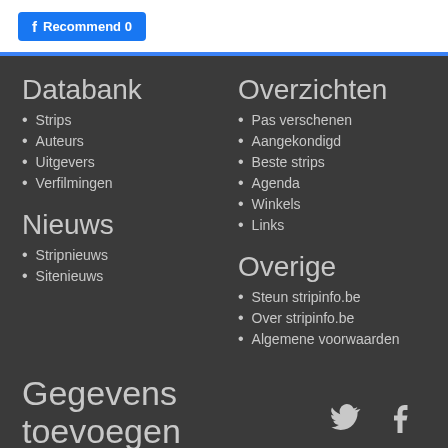[Figure (other): Facebook Recommend button with blue background]
Databank
Strips
Auteurs
Uitgevers
Verfilmingen
Nieuws
Stripnieuws
Sitenieuws
Overzichten
Pas verschenen
Aangekondigd
Beste strips
Agenda
Winkels
Links
Overige
Steun stripinfo.be
Over stripinfo.be
Algemene voorwaarden
Gegevens toevoegen
Reeks toevoegen
Strip toevoegen